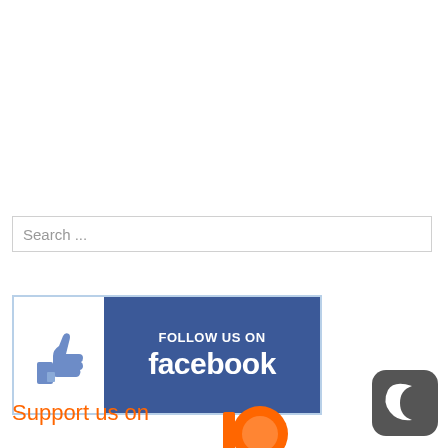[Figure (screenshot): Search box with placeholder text 'Search ...']
[Figure (logo): Follow us on Facebook banner with thumbs up icon on white left panel and blue right panel with FOLLOW US ON facebook text]
Support us on
[Figure (logo): Patreon orange circular logo icon]
[Figure (logo): Dark mode toggle icon - dark grey rounded square with crescent moon symbol]